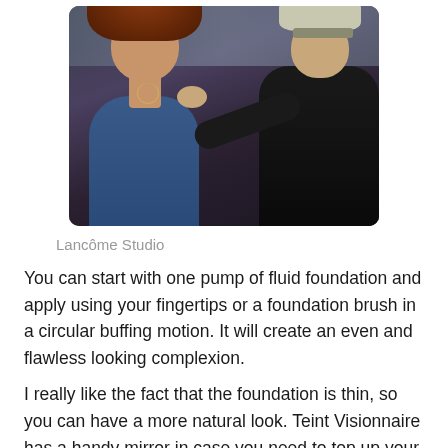[Figure (photo): A makeup artist applies foundation to a woman with curly red hair at what appears to be a Lancôme studio. The woman wears a blue dress and a necklace. The artist, wearing dark clothing and glasses, reaches toward the woman's face/neck area.]
Lancôme Studio
You can start with one pump of fluid foundation and apply using your fingertips or a foundation brush in a circular buffing motion. It will create an even and flawless looking complexion.
I really like the fact that the foundation is thin, so you can have a more natural look. Teint Visionnaire has a handy mirror in case you need to top up your make-up during the d…